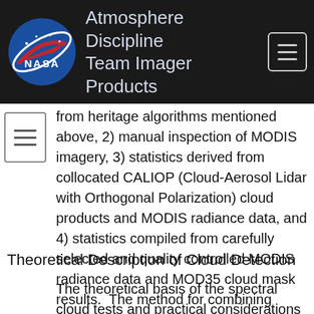Atmosphere Discipline Team Imager Products
from heritage algorithms mentioned above, 2) manual inspection of MODIS imagery, 3) statistics derived from collocated CALIOP (Cloud-Aerosol Lidar with Orthogonal Polarization) cloud products and MODIS radiance data, and 4) statistics compiled from carefully selected and quality controlled MODIS radiance data and MOD35 cloud mask results.  The method for combining results of individual cloud tests to determine a final confidence of clear sky is detailed below.
Theoretical Description of Cloud Detection
The theoretical basis of the spectral cloud tests and practical considerations are contained in this section.  For nomenclature, we shall denote the satellite measured solar reflectance as R, and refer to the